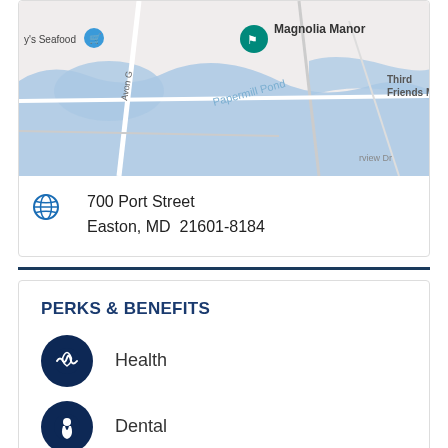[Figure (map): Google Maps view showing Magnolia Manor location near Papermill Pond in Easton MD, with nearby landmarks including y's Seafood, Avon G street, Papermill Pond water body, rview Dr, Third Friends M, and a map pin on Magnolia Manor.]
700 Port Street
Easton, MD  21601-8184
PERKS & BENEFITS
Health
Dental
Vision